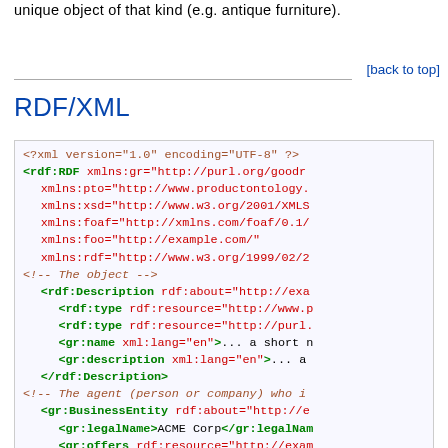unique object of that kind (e.g. antique furniture).
[back to top]
RDF/XML
[Figure (screenshot): Code block showing RDF/XML syntax with XML declaration, rdf:RDF element with multiple namespace declarations (xmlns:gr, xmlns:pto, xmlns:xsd, xmlns:foaf, xmlns:foo, xmlns:rdf), comments, rdf:Description element with rdf:type, gr:name, gr:description children, and gr:BusinessEntity element with gr:legalName (ACME Corp), gr:offers, and a comment about the offer to sell it.]